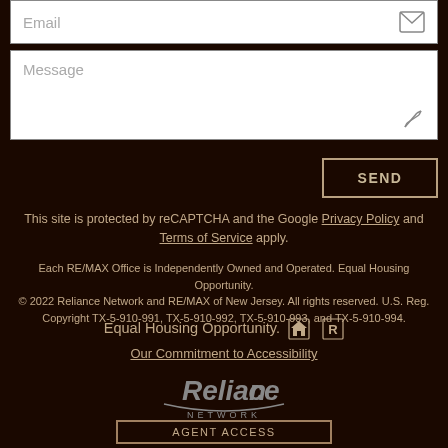[Figure (screenshot): Email input field with envelope icon on dark background]
[Figure (screenshot): Message textarea with pencil icon on dark background]
SEND
This site is protected by reCAPTCHA and the Google Privacy Policy and Terms of Service apply.
Each RE/MAX Office is Independently Owned and Operated. Equal Housing Opportunity.
© 2022 Reliance Network and RE/MAX of New Jersey. All rights reserved. U.S. Reg. Copyright TX-5-910-991, TX-5-910-992, TX-5-910-993, and TX-5-910-994.
Equal Housing Opportunity.
Our Commitment to Accessibility
[Figure (logo): Reliance Network logo in grey on dark background]
AGENT ACCESS